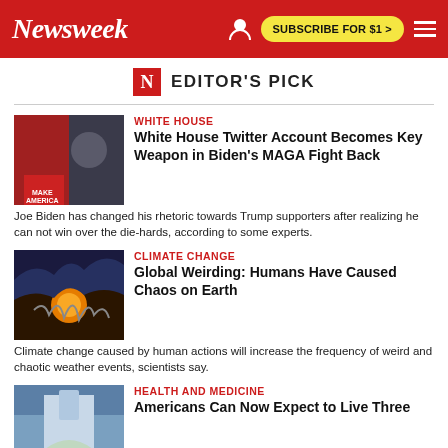Newsweek | SUBSCRIBE FOR $1 >
EDITOR'S PICK
WHITE HOUSE
White House Twitter Account Becomes Key Weapon in Biden's MAGA Fight Back
Joe Biden has changed his rhetoric towards Trump supporters after realizing he can not win over the die-hards, according to some experts.
CLIMATE CHANGE
Global Weirding: Humans Have Caused Chaos on Earth
Climate change caused by human actions will increase the frequency of weird and chaotic weather events, scientists say.
HEALTH AND MEDICINE
Americans Can Now Expect to Live Three